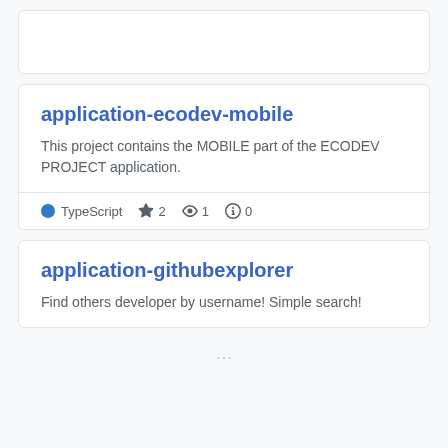application-ecodev-mobile
This project contains the MOBILE part of the ECODEV PROJECT application.
TypeScript  ★ 2  👁 1  ⚠ 0
application-githubexplorer
Find others developer by username! Simple search!